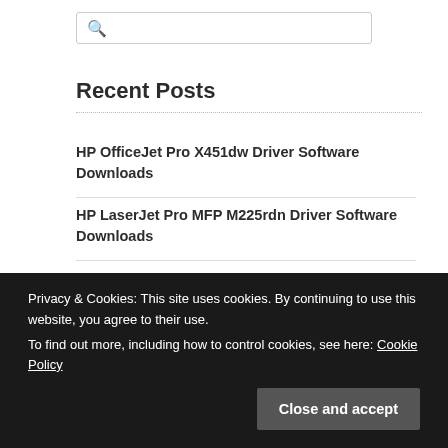[Figure (other): Search bar with magnifying glass icon]
Recent Posts
HP OfficeJet Pro X451dw Driver Software Downloads
HP LaserJet Pro MFP M225rdn Driver Software Downloads
HP OfficeJet 7413 Driver Software Downloads
HP OfficeJet Pro X451 Driver Software Downloads
Privacy & Cookies: This site uses cookies. By continuing to use this website, you agree to their use. To find out more, including how to control cookies, see here: Cookie Policy
Close and accept
Downloads